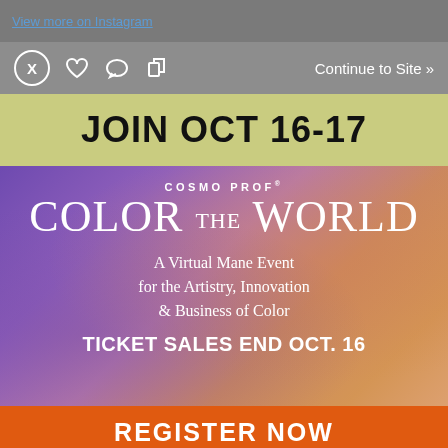View more on Instagram
X  ♡  ○  ↑   Continue to Site »
JOIN OCT 16-17
[Figure (infographic): Cosmo Prof COLOR THE WORLD event poster with purple-orange gradient background. Text: COSMO PROF, COLOR THE WORLD, A Virtual Mane Event for the Artistry, Innovation & Business of Color, TICKET SALES END OCT. 16]
REGISTER NOW
#winter2020 #nails2020 #nails #nailart #gelmanicure